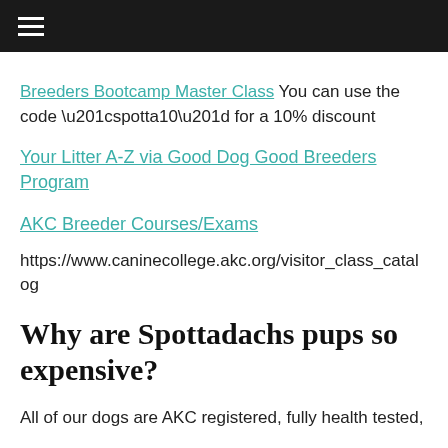≡
Breeders Bootcamp Master Class You can use the code “spotta10” for a 10% discount
Your Litter A-Z via Good Dog Good Breeders Program
AKC Breeder Courses/Exams
https://www.caninecollege.akc.org/visitor_class_catalog
Why are Spottadachs pups so expensive?
All of our dogs are AKC registered, fully health tested,